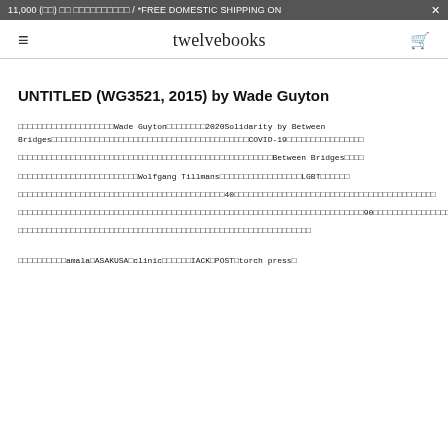11,000 (□□) □□ □□□□□□□□□□ / *FREE DOMESTIC SHIPPING ON ×
twelvebooks
UNTITLED (WG3521, 2015) by Wade Guyton
□□□□□□□□□□□□□□□□□□□□Wade Guyton□□□□□□□□2020Solidarity by Between Bridges□□□□□□□□□□□□□□□□□□□□□□□□□□□□□□□□□□□□□□□□□COVID-19□□□□□□□□□□□□□□□□□□□□□□□□□□□□□□□□□□□□□□□□□□□□□□□□□□□□□□□□□Between Bridges□□□□□□□□□□□□□□□□□□□□□□□□□Wolfgang Tillmans□□□□□□□□□□□□□□□□□LGBT□□□□□□□□□□□□□□□□□□□□□□□□□□□□□□□□□□□□□□□□□□□40□□□□□□□□□□□□□□□□□□□□□□□□□□□□□□□□□□□□□□□□□□□□□□□□□□□□□□□□□□□□□□□□□□□□□□□□□□□□□□□□□□□□□□□□□□□□□□□□□□□□□□□□□□□□□□□□□□□□□□90□□□□□□□□□□□□□□□□□□□□□□□□□□□□□□□□□□□□□□□□□□□□□□□□□□□□□□□□□□□□□□□□□□□□□□□□□□□□
□□□□□□□□□□amala□ASAKUSA□clinic□□□□□□IACK□POST□torch press□